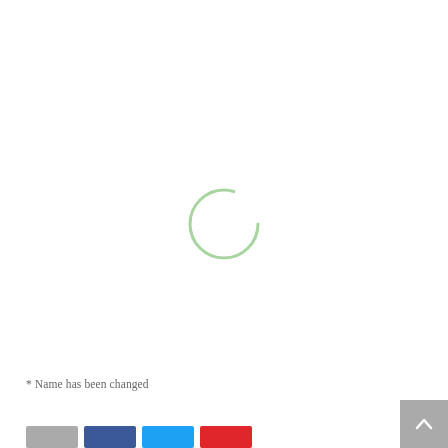[Figure (other): Loading spinner: a light green circle (ring) centered on the page, indicating content is loading.]
* Name has been changed
[Figure (other): Back-to-top button: grey square with a white upward-pointing chevron arrow, positioned at bottom-right corner.]
[Figure (other): Social share buttons: four colored rectangular buttons at bottom-left (grey, blue/Facebook, light blue/Twitter, red/Pinterest).]